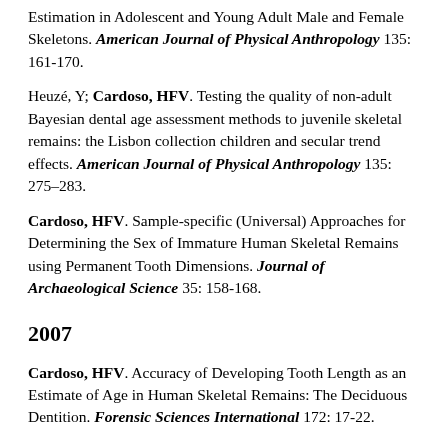Estimation in Adolescent and Young Adult Male and Female Skeletons. American Journal of Physical Anthropology 135: 161-170.
Heuzé, Y; Cardoso, HFV. Testing the quality of non-adult Bayesian dental age assessment methods to juvenile skeletal remains: the Lisbon collection children and secular trend effects. American Journal of Physical Anthropology 135: 275–283.
Cardoso, HFV. Sample-specific (Universal) Approaches for Determining the Sex of Immature Human Skeletal Remains using Permanent Tooth Dimensions. Journal of Archaeological Science 35: 158-168.
2007
Cardoso, HFV. Accuracy of Developing Tooth Length as an Estimate of Age in Human Skeletal Remains: The Deciduous Dentition. Forensic Sciences International 172: 17-22.